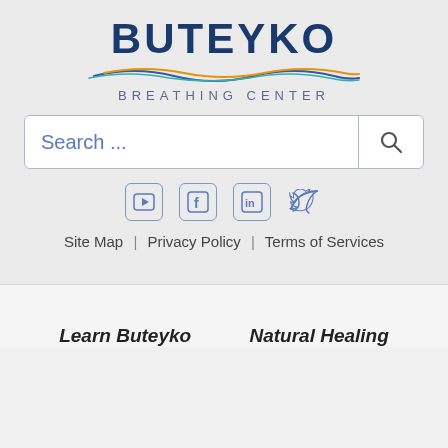[Figure (logo): Buteyko Breathing Center logo with wave graphic and text]
Search ...
[Figure (infographic): Social media icons: YouTube, Facebook, LinkedIn, Twitter]
Site Map | Privacy Policy | Terms of Services
Learn Buteyko
Natural Healing